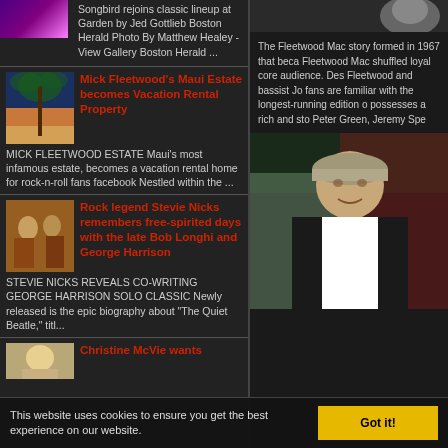Songbird rejoins classic lineup at Garden by Jed Gottlieb Boston Herald Photo By Matthew Healey - View Gallery Boston Herald ...
Mick Fleetwood's Maui Estate becomes Vacation Rental Property
MICK FLEETWOOD ESTATE Maui's most infamous estate, becomes a vacation rental home for rock-n-roll fans facebook Nestled within the ...
Rock legend Stevie Nicks remembers free-spirited days with the late Bob Longhi and George Harrison
STEVIE NICKS REVEALS CO-WRITING GEORGE HARRISON SOLO CLASSIC Newly released is the epic biography about "The Quiet Beatle," titl...
Christine McVie wants
[Figure (photo): Purple/magenta colored concert photo top left]
[Figure (photo): Palm tree silhouette at sunset - Mick Fleetwood Maui estate]
[Figure (photo): Band photo with warm orange tones - Stevie Nicks and others]
[Figure (photo): Blonde woman - Christine McVie]
[Figure (photo): Right column top - dark portrait]
The Fleetwood Mac story formed in 1967 that beca Fleetwood Mac shuffled loyal core audience. Des Fleetwood and bassist Jo fans are familiar with the longest-running edition o possesses a rich and sto Peter Green, Jeremy Spe
[Figure (photo): Man in white shirt and cap - appears to be Mick Fleetwood in interview setting]
This website uses cookies to ensure you get the best experience on our website.
Got it!